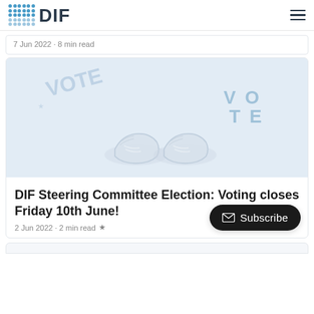DIF
7 Jun 2022 · 8 min read
[Figure (photo): Top-down photo of sneakers/shoes standing on pavement with VOTE stenciled in blue paint]
DIF Steering Committee Election: Voting closes Friday 10th June!
2 Jun 2022 · 2 min read ★
Subscribe